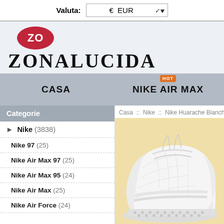Valuta: € EUR
[Figure (logo): Zonalucida logo with red oval ZO emblem and large serif ZONALUCIDA text]
CASA   NIKE AIR MAX (HOT badge)
Casa :: Nike :: Nike Huarache Bianche ::
Categorie
Nike (3838)
Nike 97 (25)
Nike Air Max 97 (25)
Nike Air Max 95 (24)
Nike Air Max (25)
Nike Air Force (24)
[Figure (photo): White Nike Huarache sneaker on beige/tan background, side view showing mesh upper and textured sole]